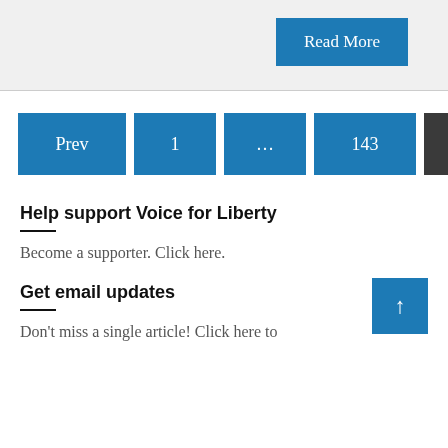Read More
Prev  1  ...  143  144
Help support Voice for Liberty
Become a supporter. Click here.
Get email updates
Don't miss a single article! Click here to